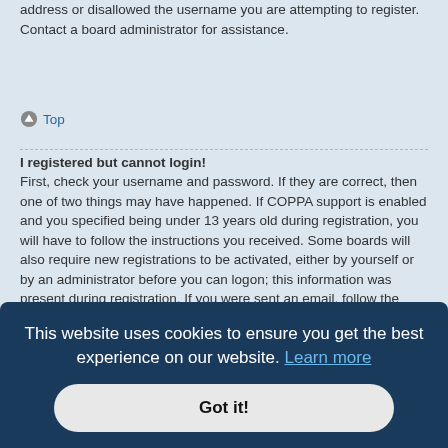address or disallowed the username you are attempting to register. Contact a board administrator for assistance.
⌃ Top
I registered but cannot login!
First, check your username and password. If they are correct, then one of two things may have happened. If COPPA support is enabled and you specified being under 13 years old during registration, you will have to follow the instructions you received. Some boards will also require new registrations to be activated, either by yourself or by an administrator before you can logon; this information was present during registration. If you were sent an email, follow the instructions. If you did not receive an email, you may have provided an incorrect email address or the email may have been picked up by a spam filer. If you are sure the email address you provided is correct, try contacting an administrator.
⌃ T...
This website uses cookies to ensure you get the best experience on our website. Learn more
Got it!